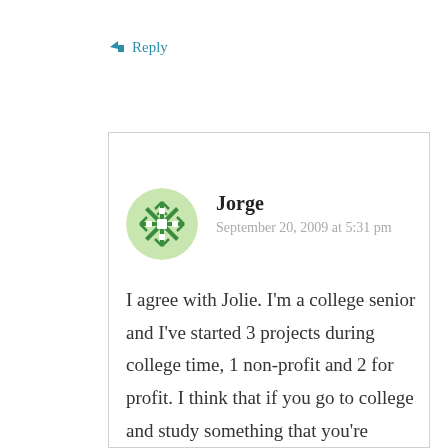↳ Reply
[Figure (illustration): Green snowflake/leaf pattern avatar icon for commenter Jorge]
Jorge
September 20, 2009 at 5:31 pm
I agree with Jolie. I'm a college senior and I've started 3 projects during college time, 1 non-profit and 2 for profit. I think that if you go to college and study something that you're passionate about you'll get huge benefits for your startup because you will come out better than before. And